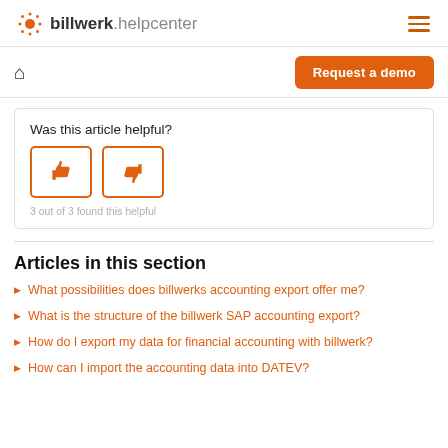billwerk.helpcenter
Request a demo
Was this article helpful?
3 out of 3 found this helpful
Articles in this section
What possibilities does billwerks accounting export offer me?
What is the structure of the billwerk SAP accounting export?
How do I export my data for financial accounting with billwerk?
How can I import the accounting data into DATEV?